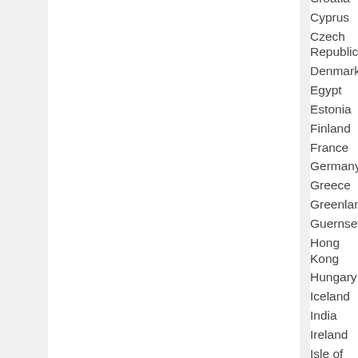Croatia
Cyprus
Czech Republic
Denmark
Egypt
Estonia
Finland
France
Germany
Greece
Greenland
Guernsey
Hong Kong
Hungary
Iceland
India
Ireland
Isle of Man
Italy
Japan
Jersey